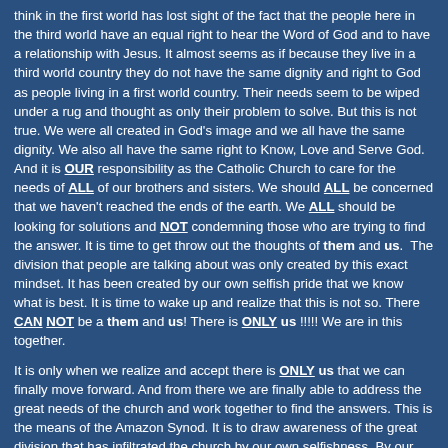think in the first world has lost sight of the fact that the people here in the third world have an equal right to hear the Word of God and to have a relationship with Jesus. It almost seems as if because they live in a third world country they do not have the same dignity and right to God as people living in a first world country. Their needs seem to be wiped under a rug and thought as only their problem to solve. But this is not true. We were all created in God's image and we all have the same dignity. We also all have the same right to Know, Love and Serve God. And it is OUR responsibility as the Catholic Church to care for the needs of ALL of our brothers and sisters. We should ALL be concerned that we haven't reached the ends of the earth. We ALL should be looking for solutions and NOT condemning those who are trying to find the answer. It is time to get throw out the thoughts of them and us. The division that people are talking about was only created by this exact mindset. It has been created by our own selfish pride that we know what is best. It is time to wake up and realize that this is not so. There CAN NOT be a them and us! There is ONLY us !!!!! We are in this together.
It is only when we realize and accept there is ONLY us that we can finally move forward. And from there we are finally able to address the great needs of the church and work together to find the answers. This is the means of the Amazon Synod. It is to draw awareness of the great division that has infiltrated the church by our own selfishness. By our own unwillingness to think of someone other than ourselves and to look beyond our own thoughts and desires. It has put faces and names to the 'them.' This has brought even more outrage at times because now we can no longer ignore God's image in 'them' and we can no longer look past their dignity.
I say "ENOUGH!!!" We are ALL created in God's image, we ALL have the same dignity and let us not all forget that God wrote on each of our hearts to search for Him. Some of us have tried to find Him in sex, money, drugs, alcohol, other people, animals, the environment, and material things. We ALL have searched for Him in other things at one point in our lives. We ALL have at one point in our